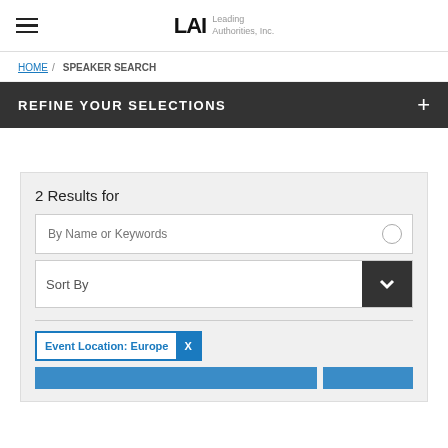LAI Leading Authorities, Inc.
HOME / SPEAKER SEARCH
REFINE YOUR SELECTIONS
2 Results for
By Name or Keywords
Sort By
Event Location: Europe X